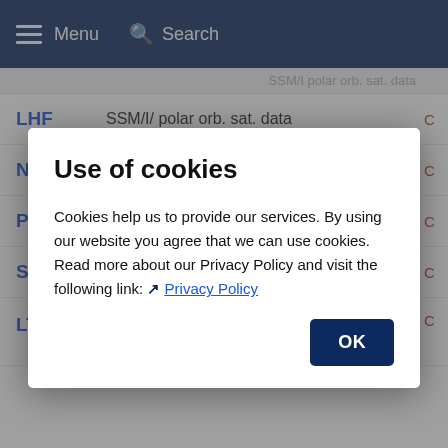Menu  Search
SSM/I polar orb. sat. data
Use of cookies
Cookies help us to provide our services. By using our website you agree that we can use cookies. Read more about our Privacy Policy and visit the following link: ↗ Privacy Policy
OK
LHF  SSM/I/ polar orb. sat. data
NSH  SSM/I/ polar orb. sat. data
PRE  SSM/I/ polar orb. sat. data
SWS  SSM/I/ polar orb. sat. data
LTC*  HOAPS, SSM/I/ polar orb. sat. data